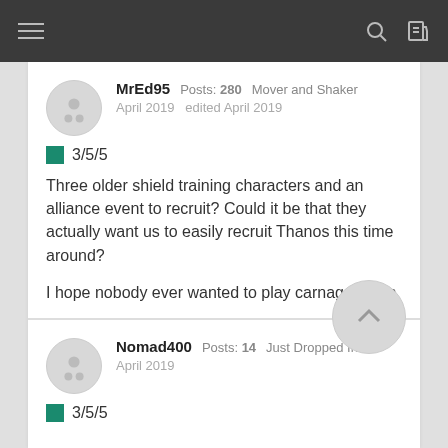Navigation bar with menu, search, and login icons
MrEd95  Posts: 280  Mover and Shaker
April 2019  edited April 2019
3/5/5
Three older shield training characters and an alliance event to recruit? Could it be that they actually want us to easily recruit Thanos this time around?

I hope nobody ever wanted to play carnage again
Nomad400  Posts: 14  Just Dropped In
April 2019
3/5/5